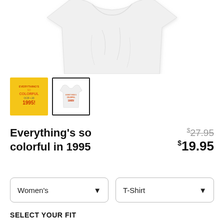[Figure (photo): White t-shirt product photo, top portion visible showing collar and torso area]
[Figure (photo): Two product thumbnails: first is yellow background with colorful text reading Everything's so colorful in 1995, second is white t-shirt with same design, second thumbnail has bold black border indicating selection]
Everything's so colorful in 1995
$27.95 (strikethrough original price) $19.95 (sale price)
Women's (dropdown)
T-Shirt (dropdown)
SELECT YOUR FIT